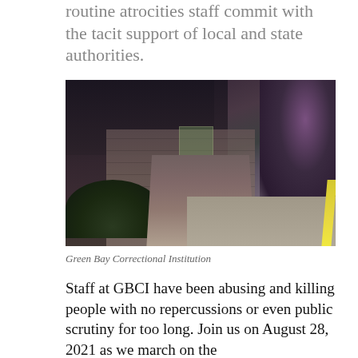routine atrocities staff commit with the tacit support of local and state authorities.
[Figure (photo): Exterior photograph of Green Bay Correctional Institution showing stone masonry steps and entrance of a dark brick building, with trees and a sidewalk visible.]
Green Bay Correctional Institution
Staff at GBCI have been abusing and killing people with no repercussions or even public scrutiny for too long. Join us on August 28, 2021 as we march on the